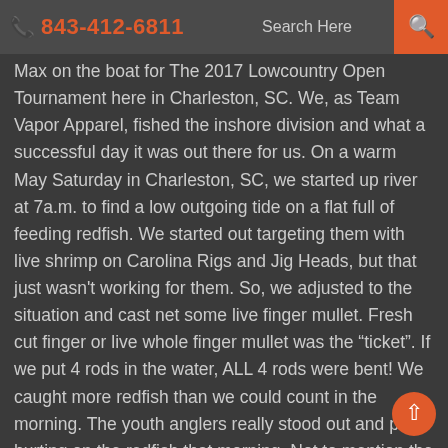843-412-6811  Search Here
Max on the boat for The 2017 Lowcountry Open Tournament here in Charleston, SC. We, as Team Vapor Apparel, fished the inshore division and what a successful day it was out there for us. On a warm May Saturday in Charleston, SC, we started up river at 7a.m. to find a low outgoing tide on a flat full of feeding redfish. We started out targeting them with live shrimp on Carolina Rigs and Jig Heads, but that just wasn't working for them. So, we adjusted to the situation and cast net some live finger mullet. Fresh cut finger or live whole finger mullet was the “ticket”. If we put 4 rods in the water, ALL 4 rods were bent! We caught more redfish than we could count in the morning. The youth anglers really stood out and put a hurting on the redfish that morning. Not to mention the monster 25", almost 5lb